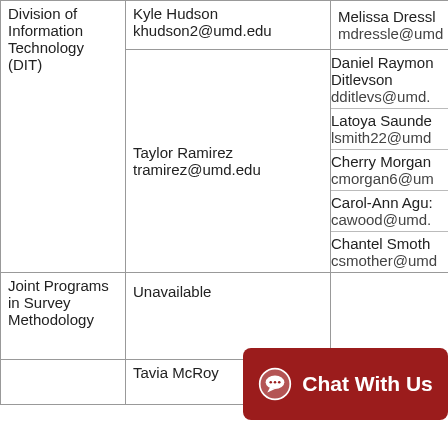| Division | Contact Name / Email | Additional Contacts |
| --- | --- | --- |
| Division of Information Technology (DIT) | Kyle Hudson
khudson2@umd.edu

Taylor Ramirez
tramirez@umd.edu | Melissa Dressl
mdressle@umd...

Daniel Raymond Ditlevson
dditlevs@umd....

Latoya Saunde
lsmith22@umd

Cherry Morgan
cmorgan6@um

Carol-Ann Agu:
cawood@umd....

Chantel Smoth
csmother@umd |
| Joint Programs in Survey Methodology | Unavailable |  |
|  | Tavia McRoy | Nicholas Coop |